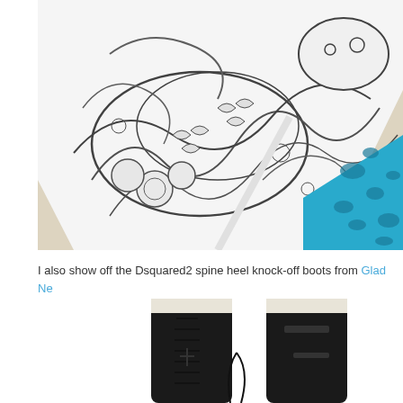[Figure (photo): Close-up photo of folded fabric items: a white fabric with detailed black dragon tattoo-style print and a turquoise/blue leopard print fabric, laid on a cream/ivory striped surface.]
I also show off the Dsquared2 spine heel knock-off boots from Glad Ne...
[Figure (photo): Close-up photo of black lace-up tall boots, showing the shaft and lacing detail against a white background.]